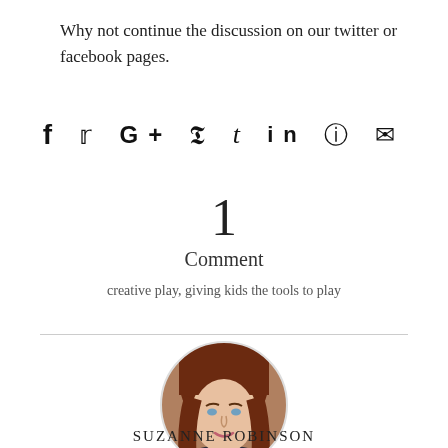Why not continue the discussion on our twitter or facebook pages.
[Figure (infographic): Social media share icons: Facebook, Twitter, Google+, Pinterest, Tumblr, LinkedIn, WhatsApp, Email]
1
Comment
creative play, giving kids the tools to play
[Figure (photo): Circular profile photo of Suzanne Robinson, a woman with long auburn hair, smiling]
SUZANNE ROBINSON